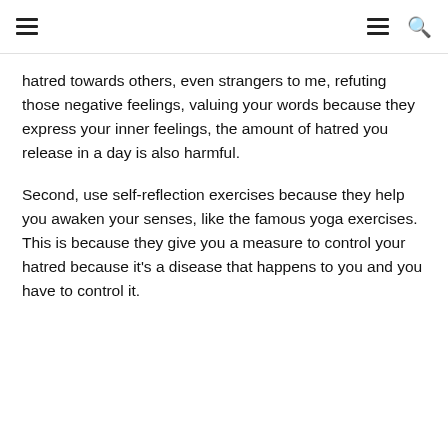≡  ≡ 🔍
hatred towards others, even strangers to me, refuting those negative feelings, valuing your words because they express your inner feelings, the amount of hatred you release in a day is also harmful.
Second, use self-reflection exercises because they help you awaken your senses, like the famous yoga exercises. This is because they give you a measure to control your hatred because it's a disease that happens to you and you have to control it.